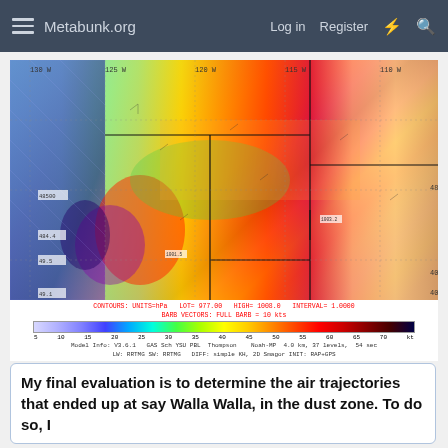Metabunk.org   Log in   Register
[Figure (map): Weather/atmospheric model map showing wind barbs and pressure contours over the Pacific Northwest and western United States. Colors indicate pressure or wind speed values ranging from blue/purple (low) through green, yellow, orange, to red/dark red (high). State boundaries shown in black. Latitude/longitude grid visible. Legend shows CONTOURS: UNITS=hPa LOT= 977.00 HIGH= 1008.0 INTERVAL= 1.0000; BARB VECTORS: FULL BARB = 10 kts. Color scale from approximately 5 to 80+ kt. Model Info: V3.6.1 GAS Sch YSU PBL Thompson Noah-MP 4.0 km, 37 levels, 54 sec LW: RRTMG SW: RRTMG DIFF: simple KH, 2D Smagor INIT: RAP+GPS]
My final evaluation is to determine the air trajectories that ended up at say Walla Walla, in the dust zone. To do so, I